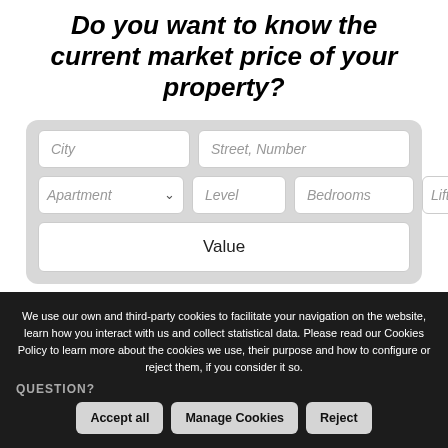Do you want to know the current market price of your property?
[Figure (screenshot): Web form with fields: City, Street/Number, Apartment dropdown, Level, Bedrooms, Lift dropdown, and a Value button, on a grey background panel]
We use our own and third-party cookies to facilitate your navigation on the website, learn how you interact with us and collect statistical data. Please read our Cookies Policy to learn more about the cookies we use, their purpose and how to configure or reject them, if you consider it so.
QUESTION?
Accept all    Manage Cookies    Reject